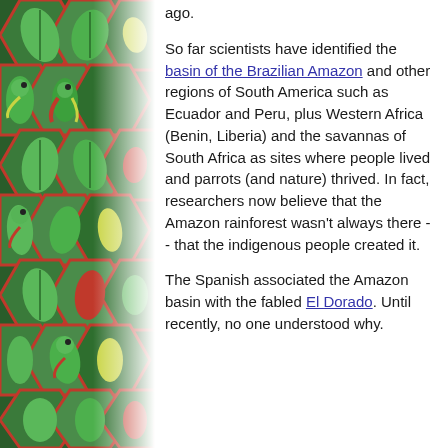[Figure (illustration): Decorative left border showing colorful parrots among green and red leaves arranged in a mosaic/stained-glass pattern]
ago.
So far scientists have identified the basin of the Brazilian Amazon and other regions of South America such as Ecuador and Peru, plus Western Africa (Benin, Liberia) and the savannas of South Africa as sites where people lived and parrots (and nature) thrived. In fact, researchers now believe that the Amazon rainforest wasn't always there -- that the indigenous people created it.
The Spanish associated the Amazon basin with the fabled El Dorado. Until recently, no one understood why.